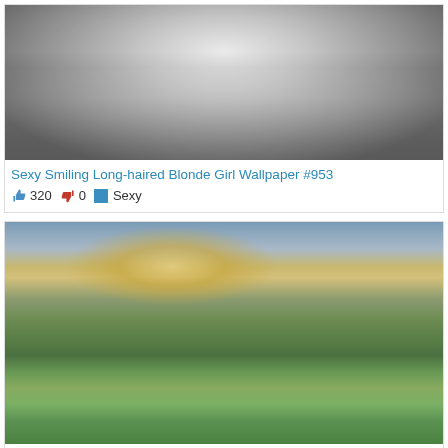[Figure (photo): Black and white portrait photo of a smiling blonde woman with long hair]
Sexy Smiling Long-haired Blonde Girl Wallpaper #953
👍 320 👎 0 📁 Sexy
[Figure (photo): Color landscape photo of a brown-haired girl sitting with her back to the camera, looking at a scenic countryside with hills, a cottage, and a sunset over water]
Sexy Long-haired Blonde Girl Wallpaper #4139